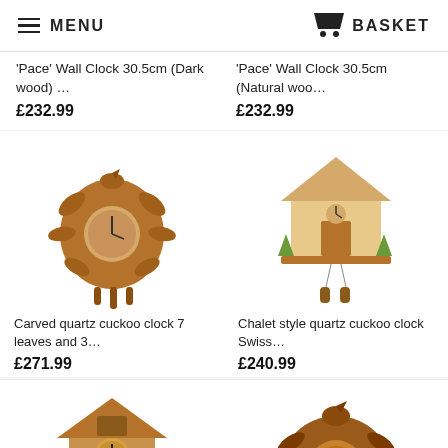MENU  BASKET
'Pace' Wall Clock 30.5cm (Dark wood) …
£232.99
'Pace' Wall Clock 30.5cm (Natural woo…
£232.99
[Figure (photo): Carved quartz cuckoo clock with 7 decorative leaves and 3 weights, brown wood]
[Figure (photo): Chalet style quartz cuckoo clock Swiss style with house roof and pendulums]
Carved quartz cuckoo clock 7 leaves and 3…
£271.99
Chalet style quartz cuckoo clock Swiss…
£240.99
[Figure (photo): Traditional wooden cuckoo clock with house shape and black pendulums]
[Figure (photo): Large carved quartz cuckoo clock with decorative bird and leaf motifs]